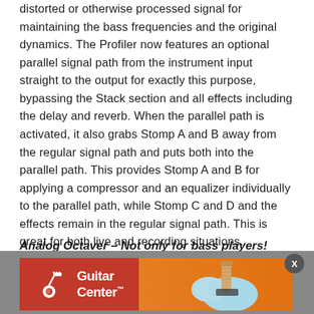distorted or otherwise processed signal for maintaining the bass frequencies and the original dynamics. The Profiler now features an optional parallel signal path from the instrument input straight to the output for exactly this purpose, bypassing the Stack section and all effects including the delay and reverb. When the parallel path is activated, it also grabs Stomp A and B away from the regular signal path and puts both into the parallel path. This provides Stomp A and B for applying a compressor and an equalizer individually to the parallel path, while Stomp C and D and the effects remain in the regular signal path. This is great for both live and recording situations.
Analog Octaver – Not only for bass players!
[Figure (photo): Guitar Center advertisement banner with logo on red background and a light blue electric guitar on orange gradient background]
...used b... ...l for any instrument. The analog octaver adds two...